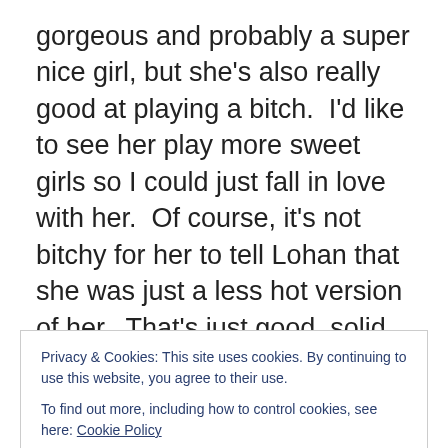gorgeous and probably a super nice girl, but she's also really good at playing a bitch.  I'd like to see her play more sweet girls so I could just fall in love with her.  Of course, it's not bitchy for her to tell Lohan that she was just a less hot version of her.  That's just good, solid facts.  I feel extra bad for Lacey Chabert because she is so completely gorgeous as well, and also pulled off the comedy and the parts where she had to cry so well, but she really hasn't become as mainstream as she should.  She had Not Another Teen Movie, and her one line was pretty hilarious in that, but she needs to be more famous.  They let Kate
Privacy & Cookies: This site uses cookies. By continuing to use this website, you agree to their use.
To find out more, including how to control cookies, see here: Cookie Policy
Hood movie, but not a lot worth talking about.  Nothing